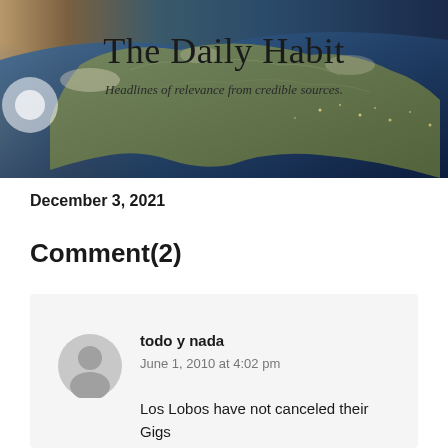[Figure (illustration): The Daily Habit banner with a satellite view of Earth/North America and text overlay. Title reads 'The Daily Habit' with subtitle 'Headlines of relevance from credible sources.']
December 3, 2021
Comment(2)
todo y nada
June 1, 2010 at 4:02 pm

Los Lobos have not canceled their Gigs in AZ on June 18 and Nov 11